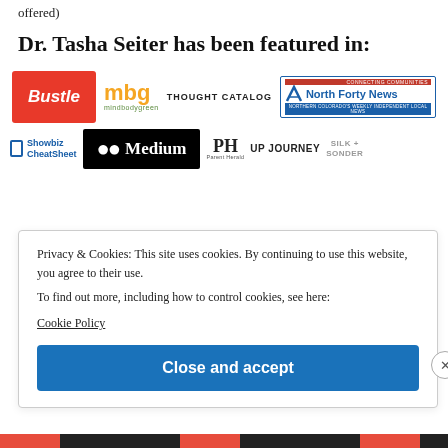offered)
Dr. Tasha Seiter has been featured in:
[Figure (logo): Row of publication logos: Bustle (red), mindbodygreen (mbg), THOUGHT CATALOG, North Forty News]
[Figure (logo): Row of publication logos: Showbiz CheatSheet, Medium, PH Parent Herald, UP JOURNEY, SILK + SONDER]
Privacy & Cookies: This site uses cookies. By continuing to use this website, you agree to their use.
To find out more, including how to control cookies, see here:
Cookie Policy

Close and accept